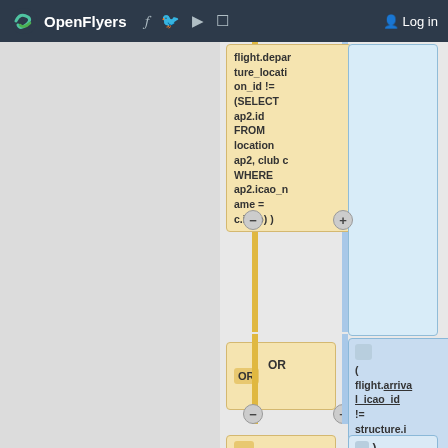OpenFlyers — navigation bar with Log in
[Figure (flowchart): SQL query flowchart showing conditions: flight.departure_location_id != (SELECT ap2.id FROM location ap2, club c WHERE ap2.icao_name = c.icao) ) with OR connector and (flight.arrival_icao_id != structure.icao) and ( flight.arriva... nodes, with yellow and blue connector lines and plus/minus expand buttons]